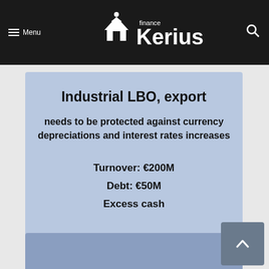Menu | Kerius Finance (logo)
Industrial LBO, export
needs to be protected against currency depreciations and interest rates increases
Turnover: €200M
Debt: €50M
Excess cash
[Figure (other): Partially visible lower card section with darker blue background]
[Figure (other): Scroll-to-top button, grey square with upward chevron arrow]